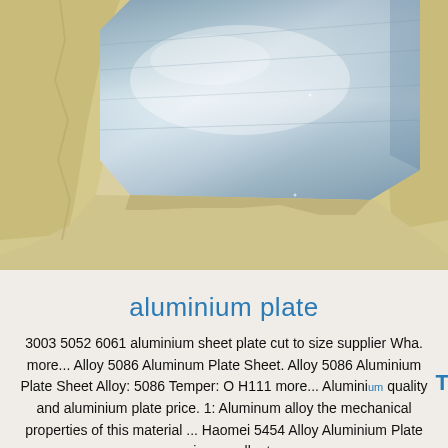[Figure (photo): Close-up photo of polished aluminium sheet plate wrapped in light yellow/cream protective packaging material. The metallic surface is visible in the center with reflective sheen, surrounded by crinkled pale yellow film/wrap.]
aluminium plate
3003 5052 6061 aluminium sheet plate cut to size supplier Wha. more... Alloy 5086 Aluminum Plate Sheet. Alloy 5086 Aluminium Plate Sheet Alloy: 5086 Temper: O H111 more... Aluminium quality and aluminium plate price. 1: Aluminum alloy the mechanical properties of this material ... Haomei 5454 Alloy Aluminium Plate enjoy excellent...